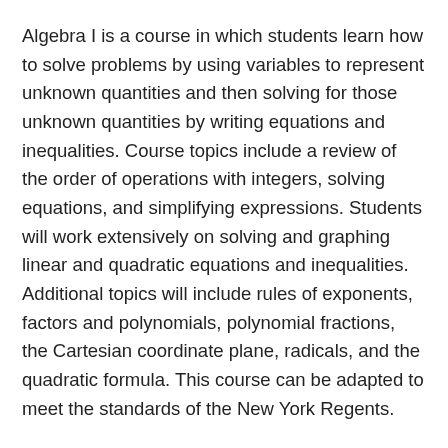Algebra I is a course in which students learn how to solve problems by using variables to represent unknown quantities and then solving for those unknown quantities by writing equations and inequalities. Course topics include a review of the order of operations with integers, solving equations, and simplifying expressions. Students will work extensively on solving and graphing linear and quadratic equations and inequalities. Additional topics will include rules of exponents, factors and polynomials, polynomial fractions, the Cartesian coordinate plane, radicals, and the quadratic formula. This course can be adapted to meet the standards of the New York Regents.